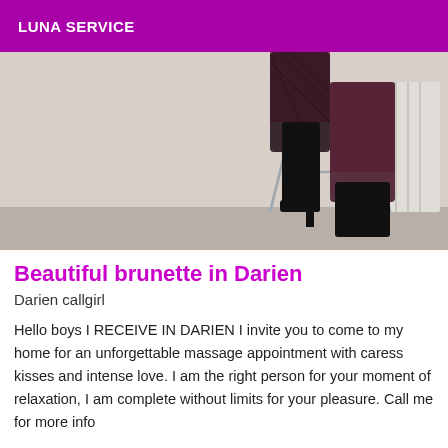LUNA SERVICE
[Figure (photo): Photo of a person's legs wearing fishnet stockings and black high-heeled boots, with one foot propped on a wooden stool, standing against a white wall with a radiator visible]
Beautiful brunette in Darien
Darien callgirl
Hello boys I RECEIVE IN DARIEN I invite you to come to my home for an unforgettable massage appointment with caress kisses and intense love. I am the right person for your moment of relaxation, I am complete without limits for your pleasure. Call me for more info